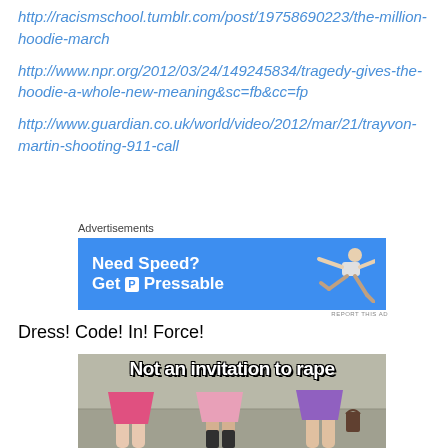http://racismschool.tumblr.com/post/19758690223/the-million-hoodie-march
http://www.npr.org/2012/03/24/149245834/tragedy-gives-the-hoodie-a-whole-new-meaning&sc=fb&cc=fp
http://www.guardian.co.uk/world/video/2012/mar/21/trayvon-martin-shooting-911-call
[Figure (screenshot): Blue advertisement banner reading 'Need Speed? Get P Pressable' with a figure illustration on the right. Label 'Advertisements' above. 'REPORT THIS AD' text below right.]
Dress! Code! In! Force!
[Figure (photo): Image of women's legs in skirts with text overlay 'Not an invitation to rape']